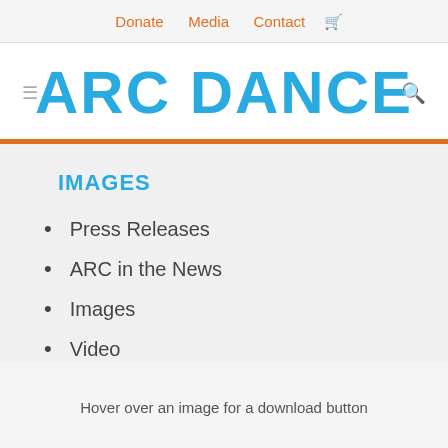Donate   Media   Contact  🛒
ARC DANCE
IMAGES
Press Releases
ARC in the News
Images
Video
Hover over an image for a download button